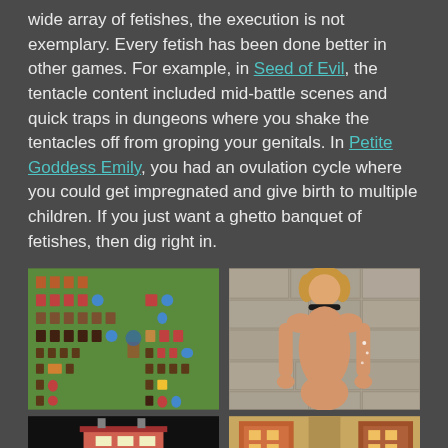wide array of fetishes, the execution is not exemplary. Every fetish has been done better in other games. For example, in Seed of Evil, the tentacle content included mid-battle scenes and quick traps in dungeons where you shake the tentacles off from groping your genitals. In Petite Goddess Emily, you had an ovulation cycle where you could get impregnated and give birth to multiple children. If you just want a ghetto banquet of fetishes, then dig right in.
[Figure (screenshot): Pixel art RPG battle scene with sprite characters on green background]
[Figure (photo): 3D rendered female character with blonde hair wearing collar against stone wall background]
[Figure (screenshot): Dark screenshot with pixel art building/interior scene]
[Figure (screenshot): Pixel art RPG top-down map scene with warm colors]